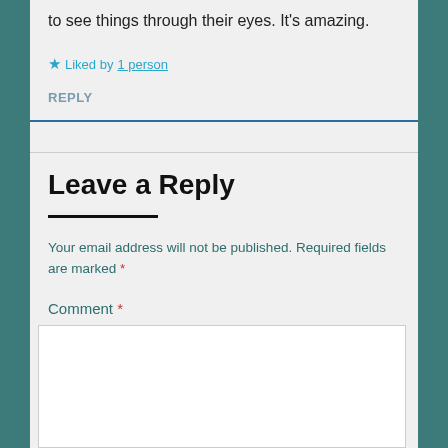to see things through their eyes. It's amazing.
★ Liked by 1 person
REPLY
Leave a Reply
Your email address will not be published. Required fields are marked *
Comment *